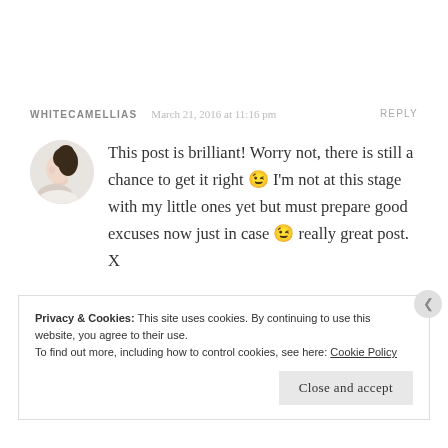WHITECAMELLIAS   March 21, 2016 at 11:16 pm   REPLY
[Figure (photo): Circular avatar photo of a woman with dark hair in a bun, side profile, against white background]
This post is brilliant! Worry not, there is still a chance to get it right 😉 I'm not at this stage with my little ones yet but must prepare good excuses now just in case 😉 really great post. X
#bigpinink
Privacy & Cookies: This site uses cookies. By continuing to use this website, you agree to their use.
To find out more, including how to control cookies, see here: Cookie Policy
Close and accept